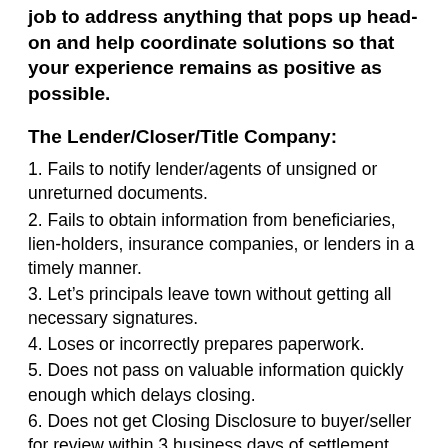job to address anything that pops up head-on and help coordinate solutions so that your experience remains as positive as possible.
The Lender/Closer/Title Company:
1. Fails to notify lender/agents of unsigned or unreturned documents.
2. Fails to obtain information from beneficiaries, lien-holders, insurance companies, or lenders in a timely manner.
3. Let’s principals leave town without getting all necessary signatures.
4. Loses or incorrectly prepares paperwork.
5. Does not pass on valuable information quickly enough which delays closing.
6. Does not get Closing Disclosure to buyer/seller for review within 3 business days of settlement.